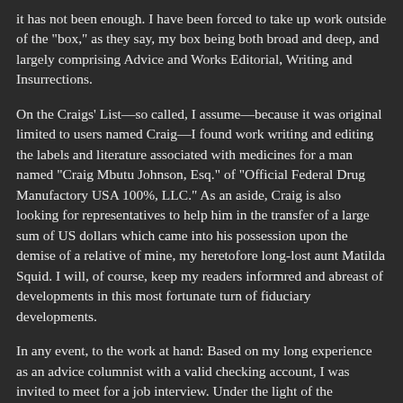it has not been enough. I have been forced to take up work outside of the "box," as they say, my box being both broad and deep, and largely comprising Advice and Works Editorial, Writing and Insurrections.
On the Craigs' List—so called, I assume—because it was original limited to users named Craig—I found work writing and editing the labels and literature associated with medicines for a man named "Craig Mbutu Johnson, Esq." of "Official Federal Drug Manufactory USA 100%, LLC." As an aside, Craig is also looking for representatives to help him in the transfer of a large sum of US dollars which came into his possession upon the demise of a relative of mine, my heretofore long-lost aunt Matilda Squid. I will, of course, keep my readers informred and abreast of developments in this most fortunate turn of fiduciary developments.
In any event, to the work at hand: Based on my long experience as an advice columnist with a valid checking account, I was invited to meet for a job interview. Under the light of the Supermoon I sauntered forth in my velocitating mechano-suit and met a man who smelled of almonds and cummin in the parking lot of the Meijer Super Store at 13 Mile and Little Mac road. We met at aisle L, stall 45, beside a miniature van with the Insane Clown Posse painted on the side in a dramatic mural reminiscent of The Last